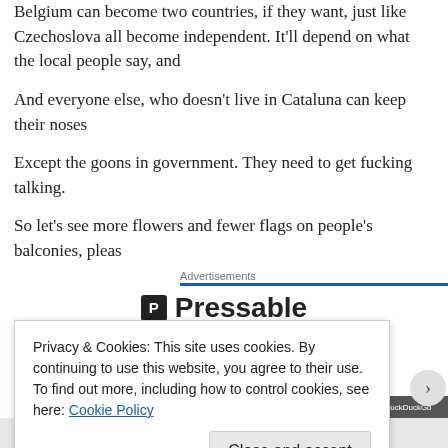Belgium can become two countries, if they want, just like Czechoslova- all become independent. It'll depend on what the local people say, and
And everyone else, who doesn't live in Cataluna can keep their noses
Except the goons in government. They need to get fucking talking.
So let's see more flowers and fewer flags on people's balconies, pleas
Advertisements
[Figure (logo): Pressable logo with bold P icon in black square and text 'Pressable']
Privacy & Cookies: This site uses cookies. By continuing to use this website, you agree to their use. To find out more, including how to control cookies, see here: Cookie Policy
Close and accept